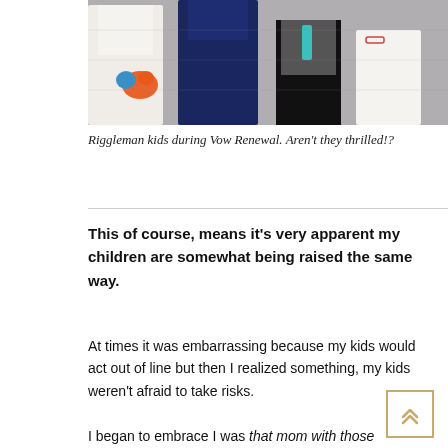[Figure (photo): Wedding photo showing Riggleman kids during Vow Renewal: a bride in white dress holding orange and blue bouquet, a woman in navy blue dress, a boy in grey vest with teal tie, and a flower girl in white dress, standing against a grey background.]
Riggleman kids during Vow Renewal. Aren't they thrilled!?
This of course, means it's very apparent my children are somewhat being raised the same way.
At times it was embarrassing because my kids would act out of line but then I realized something, my kids weren't afraid to take risks.
I began to embrace I was that mom with those kids but I struggled with it for a long time, being surrounded by sweet and precious moms